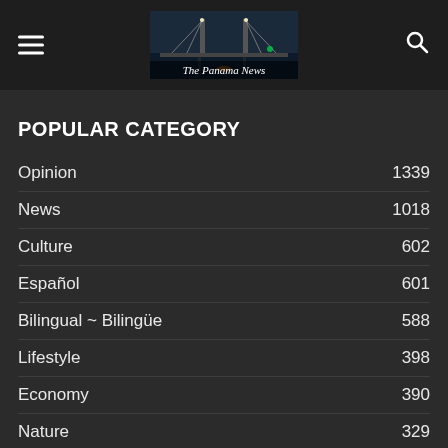The Panama News
POPULAR CATEGORY
Opinion 1339
News 1018
Culture 602
Español 601
Bilingual ~ Bilingüe 588
Lifestyle 398
Economy 390
Nature 329
International 167